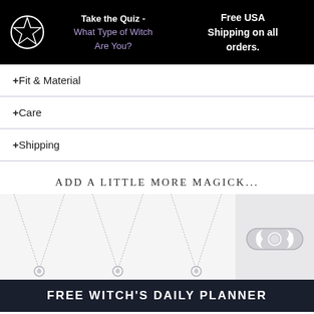Take the Quiz - What Type of Witch Are You?  |  Free USA Shipping on all orders.
+Fit & Material
+Care
+Shipping
ADD A LITTLE MORE MAGICK...
[Figure (photo): Three silver necklaces with pendants and one silver ring with a triple moon symbol displayed in a product row]
FREE WITCH'S DAILY PLANNER